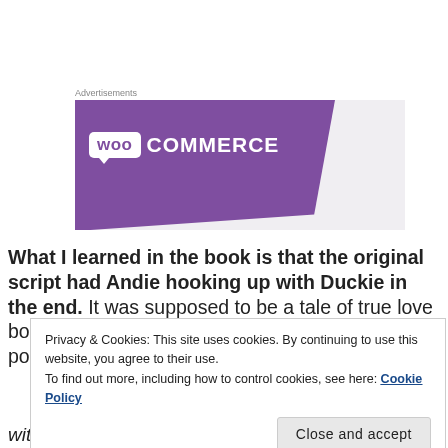[Figure (logo): WooCommerce advertisement banner with purple background and white WooCommerce logo]
What I learned in the book is that the original script had Andie hooking up with Duckie in the end. It was supposed to be a tale of true love born of friendship vs. falling for the rich, dreamy, popular guy (aka the Prince C...
Privacy & Cookies: This site uses cookies. By continuing to use this website, you agree to their use.
To find out more, including how to control cookies, see here: Cookie Policy
with Duckie! She has to get with Blane!"